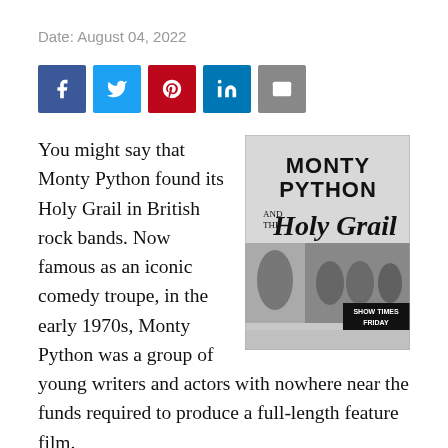Date: August 04, 2022
[Figure (infographic): Social sharing buttons: Facebook (blue), Twitter (light blue), Pinterest (red), LinkedIn (dark blue), Email (grey)]
You might say that Monty Python found its Holy Grail in British rock bands. Now famous as an iconic comedy troupe, in the early 1970s, Monty Python was a group of young writers and actors with nowhere near the funds required to produce a full-length feature film.
[Figure (photo): Movie poster for 'Monty Python and the Holy Grail' showing stylized text logo and black-and-white photo of actors in costume, with 'SHOW TIMES FRIDAY' text in bottom right]
Thank goodness the likes of Led Zeppelin